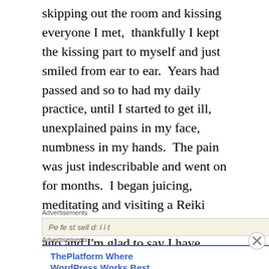skipping out the room and kissing everyone I met,  thankfully I kept the kissing part to myself and just smiled from ear to ear.  Years had passed and so to had my daily practice, until I started to get ill, unexplained pains in my face, numbness in my hands.  The pain was just indescribable and went on for months.  I began juicing, meditating and visiting a Reiki practitioner, this was about 3 years ago and I'm glad to say I have established my daily practice and really feel like I am on the right path now.
Advertisements
Advertisements
ThePlatform Where WordPress Works Best   Pressable